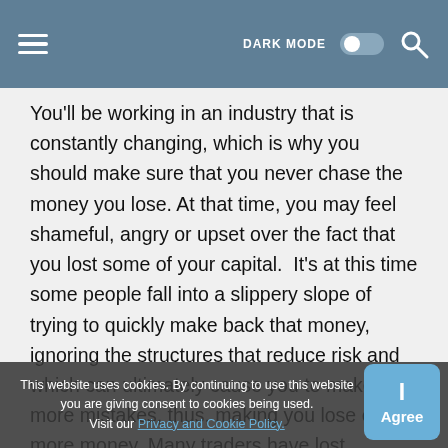DARK MODE  [toggle]  [search]
You'll be working in an industry that is constantly changing, which is why you should make sure that you never chase the money you lose. At that time, you may feel shameful, angry or upset over the fact that you lost some of your capital.  It's at this time some people fall into a slippery slope of trying to quickly make back that money, ignoring the structures that reduce risk and which can ultimately cause you to make more mistakes, thus, making you lose even more money. Many traders have lost everything through this downward spiral of “revenge trading”.  This is why one of the most crucial things that you could do is to learn how to detach your feelings from the results you produce and look at each trade as a business transaction, and objectively analyze how you can prevent money
This website uses cookies. By continuing to use this website you are giving consent to cookies being used. Visit our Privacy and Cookie Policy.